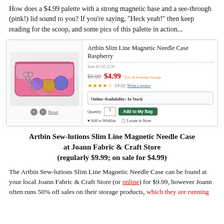How does a $4.99 palette with a strong magnetic base and a see-through (pink!) lid sound to you? If you're saying, "Heck yeah!" then keep reading for the scoop, and some pics of this palette in action...
[Figure (screenshot): Product listing screenshot from Joann Fabric & Craft Store website showing Artbin Slim Line Magnetic Needle Case Raspberry with product image, price ($9.99 struck through, $4.99 sale price in red), star rating, and Add to Bag button]
Artbin Sew-lutions Slim Line Magnetic Needle Case at Joann Fabric & Craft Store (regularly $9.99; on sale for $4.99)
The Artbin Sew-lutions Slim Line Magnetic Needle Case can be found at your local Joann Fabric & Craft Store (or online) for $9.99, however Joann often runs 50% off sales on their storage products, which they are running